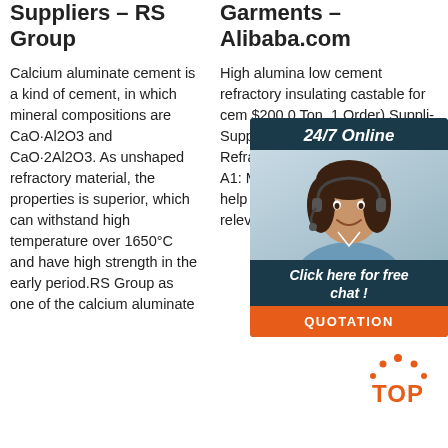Suppliers – RS Group
Calcium aluminate cement is a kind of cement, in which mineral compositions are CaO·Al2O3 and CaO·2Al2O3. As unshaped refractory material, the properties is superior, which can withstand high temperature over 1650°C and have high strength in the early period.RS Group as one of the calcium aluminate
Garments – Alibaba.com
High alumina low cement refractory insulating castable for cement $200.0 Ton. 1 Order) Suppli Suppli Compa your Z Rongs Refrac manufacturer or trader9 A1: Manufacturer, some time we help our clients to purchase relevant products as a
[Figure (other): Chat widget overlay with agent photo, '24/7 Online' header, 'Click here for free chat!' text, and 'QUOTATION' button in orange]
[Figure (logo): TOP badge logo with orange dots and letters]